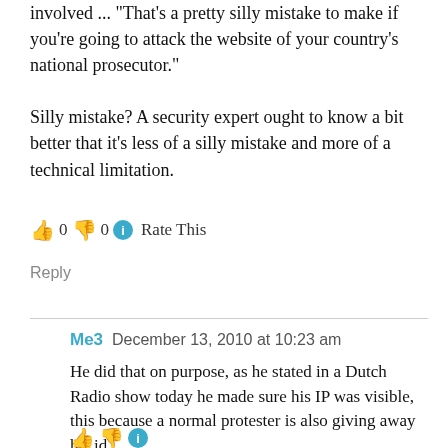involved ... "That's a pretty silly mistake to make if you're going to attack the website of your country's national prosecutor."
Silly mistake? A security expert ought to know a bit better that it's less of a silly mistake and more of a technical limitation.
👍 0 👎 0 ℹ Rate This
Reply
Me3  December 13, 2010 at 10:23 am
He did that on purpose, as he stated in a Dutch Radio show today he made sure his IP was visible, this because a normal protester is also giving away his id.

The worst thing for him that can happen is a few hours of community service and probation...